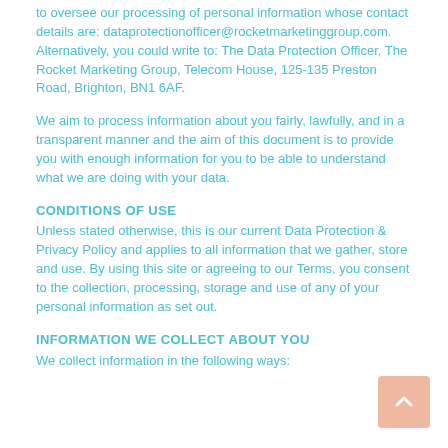to oversee our processing of personal information whose contact details are: dataprotectionofficer@rocketmarketinggroup.com. Alternatively, you could write to: The Data Protection Officer, The Rocket Marketing Group, Telecom House, 125-135 Preston Road, Brighton, BN1 6AF.
We aim to process information about you fairly, lawfully, and in a transparent manner and the aim of this document is to provide you with enough information for you to be able to understand what we are doing with your data.
CONDITIONS OF USE
Unless stated otherwise, this is our current Data Protection & Privacy Policy and applies to all information that we gather, store and use. By using this site or agreeing to our Terms, you consent to the collection, processing, storage and use of any of your personal information as set out.
INFORMATION WE COLLECT ABOUT YOU
We collect information in the following ways: